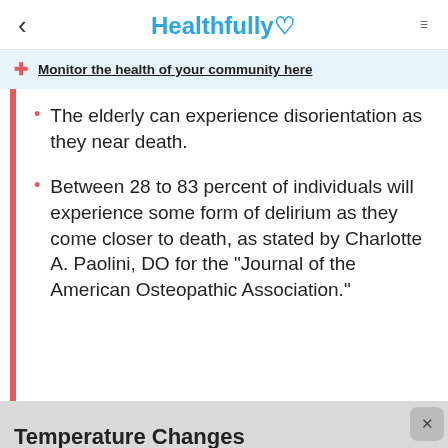< Healthfully ♡ ≡
Monitor the health of your community here
The elderly can experience disorientation as they near death.
Between 28 to 83 percent of individuals will experience some form of delirium as they come closer to death, as stated by Charlotte A. Paolini, DO for the "Journal of the American Osteopathic Association."
Temperature Changes